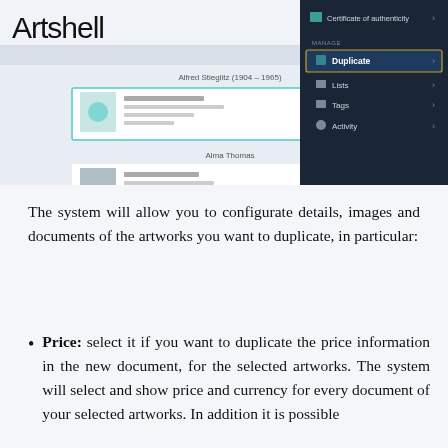[Figure (screenshot): Screenshot of the Artshell application interface showing artwork entries for Alfred Stieglitz and Alma Thomas, with a dark dropdown menu on the right showing options including Certificate of authenticity, Manage, Duplicate (highlighted), Lists, Tags, and Activity. Artshell logo and hamburger menu visible at top left and right.]
The system will allow you to configurate details, images and documents of the artworks you want to duplicate, in particular:
Price: select it if you want to duplicate the price information in the new document, for the selected artworks. The system will select and show price and currency for every document of your selected artworks. In addition it is possible